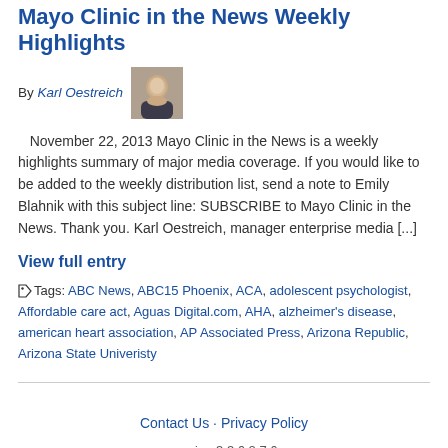Mayo Clinic in the News Weekly Highlights
By Karl Oestreich
November 22, 2013 Mayo Clinic in the News is a weekly highlights summary of major media coverage. If you would like to be added to the weekly distribution list, send a note to Emily Blahnik with this subject line: SUBSCRIBE to Mayo Clinic in the News. Thank you. Karl Oestreich, manager enterprise media [...]
View full entry
Tags: ABC News, ABC15 Phoenix, ACA, adolescent psychologist, Affordable care act, Aguas Digital.com, AHA, alzheimer's disease, american heart association, AP Associated Press, Arizona Republic, Arizona State Univeristy
Contact Us · Privacy Policy
version 3.3.6.2.7.6
Page loaded in 0.112 seconds